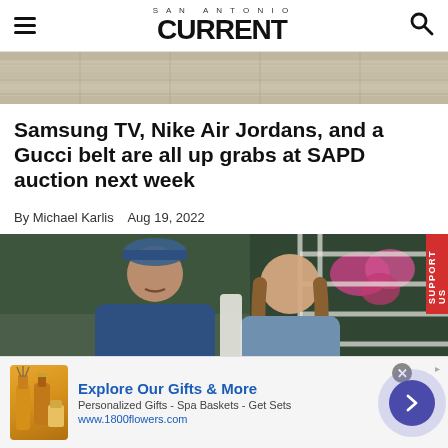SAN ANTONIO CURRENT
[Figure (photo): Top image strip showing a stone/tile surface]
Samsung TV, Nike Air Jordans, and a Gucci belt are all up grabs at SAPD auction next week
By Michael Karlis   Aug 19, 2022
[Figure (photo): A man in a backwards cap and denim shirt and a woman with long hair smiling, seated outside near flowers and a white lattice]
[Figure (other): Advertisement banner: Explore Our Gifts & More — Personalized Gifts - Spa Baskets - Get Sets — www.1800flowers.com]